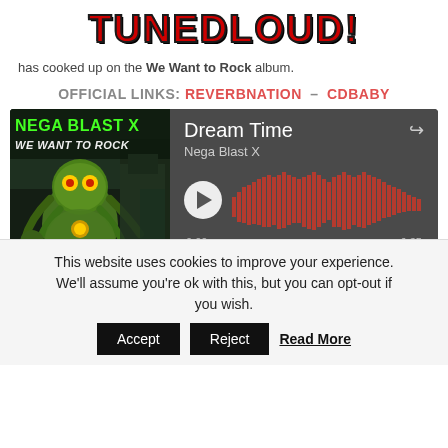TUNEDLOUD!
has cooked up on the We Want to Rock album.
OFFICIAL LINKS: REVERBNATION – CDBABY
[Figure (screenshot): Music player widget showing album art for 'Nega Blast X – We Want to Rock' on the left and audio waveform player on the right with song 'Dream Time' by Nega Blast X, showing play button, waveform bars, timestamps 0:00 and 6:35, and ReverbNation branding]
This website uses cookies to improve your experience. We'll assume you're ok with this, but you can opt-out if you wish.
Accept  Reject  Read More